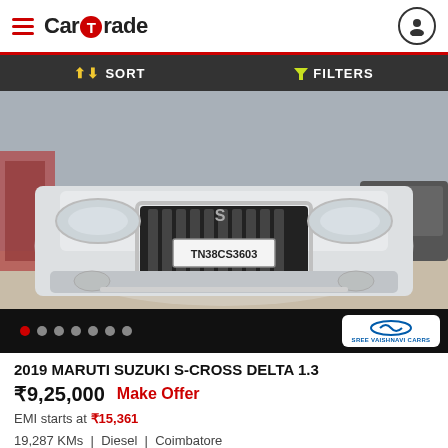CarTrade
SORT   FILTERS
[Figure (photo): Front view of a white 2019 Maruti Suzuki S-Cross with license plate TN38CS3603, parked outdoors.]
2019 MARUTI SUZUKI S-CROSS DELTA 1.3
₹9,25,000   Make Offer
EMI starts at ₹15,361
19,287 KMs  |  Diesel  |  Coimbatore
Delivery available in Thanjavur